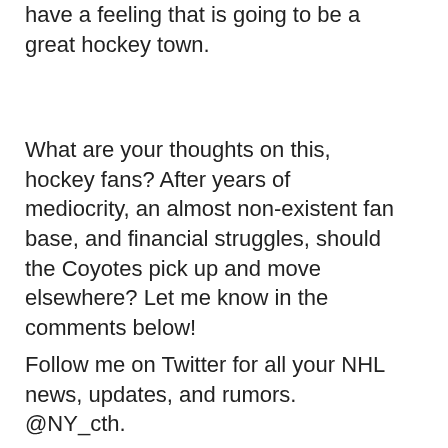have a feeling that is going to be a great hockey town.
What are your thoughts on this, hockey fans? After years of mediocrity, an almost non-existent fan base, and financial struggles, should the Coyotes pick up and move elsewhere? Let me know in the comments below!
Follow me on Twitter for all your NHL news, updates, and rumors. @NY_cth.
-Chris
Chris Hanold  •  Hockey